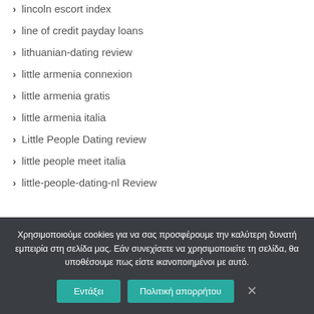lincoln escort index
line of credit payday loans
lithuanian-dating review
little armenia connexion
little armenia gratis
little armenia italia
Little People Dating review
little people meet italia
little-people-dating-nl Review
Χρησιμοποιούμε cookies για να σας προσφέρουμε την καλύτερη δυνατή εμπειρία στη σελίδα μας. Εάν συνεχίσετε να χρησιμοποιείτε τη σελίδα, θα υποθέσουμε πως είστε ικανοποιημένοι με αυτό.
Εντάξει   Πολιτική απορρήτου